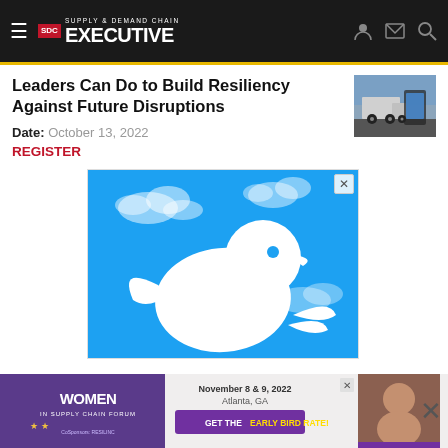Supply & Demand Chain Executive
Leaders Can Do to Build Resiliency Against Future Disruptions
Date: October 13, 2022
REGISTER
[Figure (illustration): Twitter bird logo on blue sky background with white clouds]
[Figure (illustration): Women in Supply Chain Forum advertisement banner - November 8 & 9, 2022, Atlanta, GA - GET THE EARLY BIRD RATE!]